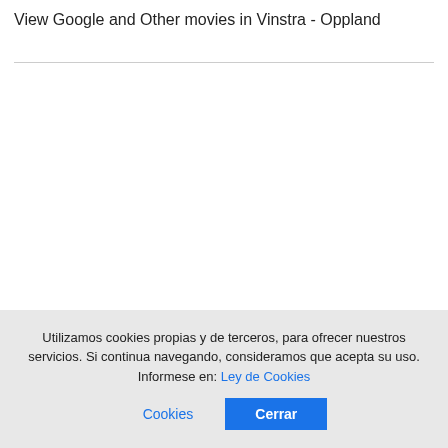View Google and Other movies in Vinstra - Oppland
Utilizamos cookies propias y de terceros, para ofrecer nuestros servicios. Si continua navegando, consideramos que acepta su uso. Informese en: Ley de Cookies